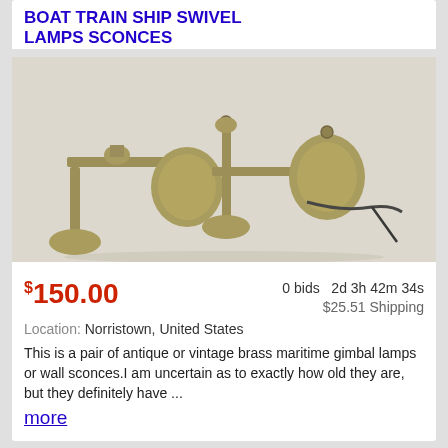BOAT TRAIN SHIP SWIVEL LAMPS SCONCES
[Figure (photo): Two antique brass maritime gimbal wall sconce lamps photographed against a white background]
$150.00   0 bids   2d 3h 42m 34s   $25.51 Shipping
Location: Norristown, United States
This is a pair of antique or vintage brass maritime gimbal lamps or wall sconces.I am uncertain as to exactly how old they are, but they definitely have ...
more
VINTAGE, BOAT SIGNAL LANTERN/CLEAR GLASS LENS.